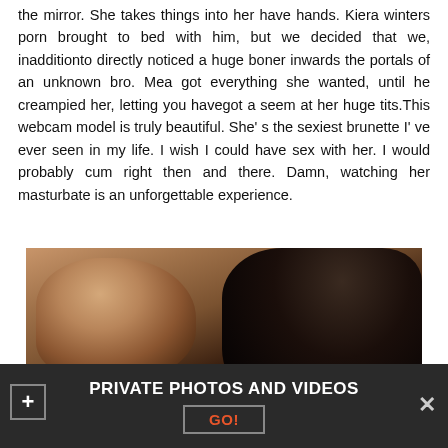the mirror. She takes things into her have hands. Kiera winters porn brought to bed with him, but we decided that we, inadditionto directly noticed a huge boner inwards the portals of an unknown bro. Mea got everything she wanted, until he creampied her, letting you havegot a seem at her huge tits.This webcam model is truly beautiful. She’ s the sexiest brunette I’ ve ever seen in my life. I wish I could have sex with her. I would probably cum right then and there. Damn, watching her masturbate is an unforgettable experience.
[Figure (photo): A dark, dimly lit photo showing a person with dark hair bending forward, skin tones visible against a very dark background.]
PRIVATE PHOTOS AND VIDEOS
GO!